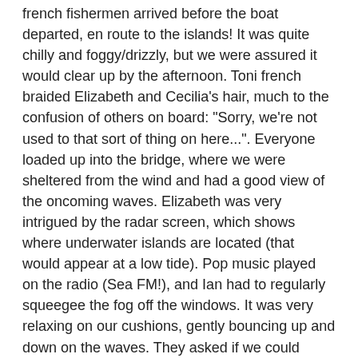french fishermen arrived before the boat departed, en route to the islands! It was quite chilly and foggy/drizzly, but we were assured it would clear up by the afternoon. Toni french braided Elizabeth and Cecilia's hair, much to the confusion of others on board: "Sorry, we're not used to that sort of thing on here...". Everyone loaded up into the bridge, where we were sheltered from the wind and had a good view of the oncoming waves. Elizabeth was very intrigued by the radar screen, which shows where underwater islands are located (that would appear at a low tide). Pop music played on the radio (Sea FM!), and Ian had to regularly squeegee the fog off the windows. It was very relaxing on our cushions, gently bouncing up and down on the waves. They asked if we could navigate in the fog and pretended to give us the old compass attached to the boat. The driver first checked it with a compass on his iPhone 6. Apparently satisfied, he returned his feet do the dashboard and continued Snapchatting (for some reason this is not what I imagine when I think of fishermen). :)
I turned to Elizabeth/Toni/Cecilia to ask if anyone had told anyone where we were going. No one could remember how we had found out about this kayak rental, and we hadn't shared the